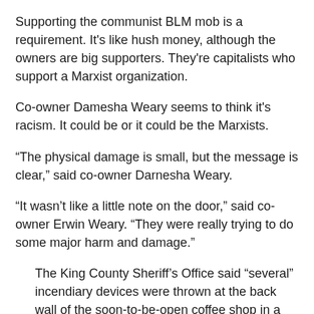Supporting the communist BLM mob is a requirement. It's like hush money, although the owners are big supporters. They're capitalists who support a Marxist organization.
Co-owner Damesha Weary seems to think it's racism. It could be or it could be the Marxists.
“The physical damage is small, but the message is clear,” said co-owner Darnesha Weary.
“It wasn’t like a little note on the door,” said co-owner Erwin Weary. “They were really trying to do some major harm and damage.”
The King County Sheriff’s Office said “several” incendiary devices were thrown at the back wall of the soon-to-be-open coffee shop in a Bethany Community Church building on Aurora Avenue North at about 3:30 a.m. Wednesday.